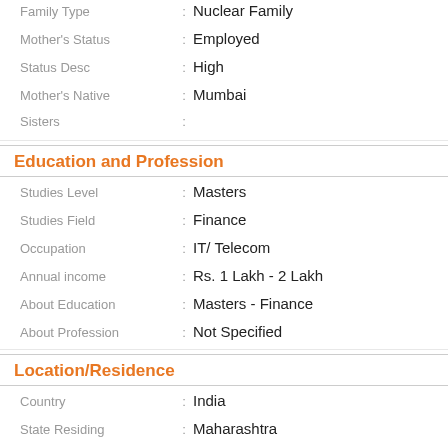Family Type : Nuclear Family
Mother's Status : Employed
Status Desc : High
Mother's Native : Mumbai
Sisters :
Education and Profession
Studies Level : Masters
Studies Field : Finance
Occupation : IT/ Telecom
Annual income : Rs. 1 Lakh - 2 Lakh
About Education : Masters - Finance
About Profession : Not Specified
Location/Residence
Country : India
State Residing : Maharashtra
City Residing : Mumbai
Residency : Permanent Resident